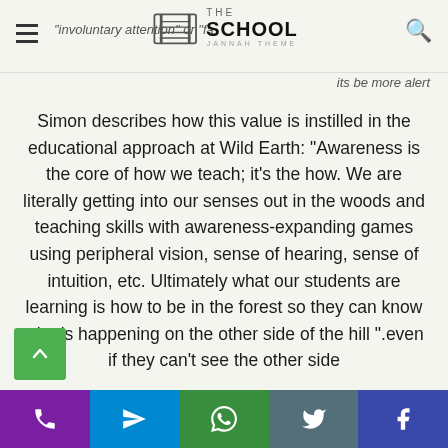THE SCHOOL JANNAH THEME
its be more alert
Simon describes how this value is instilled in the educational approach at Wild Earth: “Awareness is the core of how we teach; it’s the how. We are literally getting into our senses out in the woods and teaching skills with awareness-expanding games using peripheral vision, sense of hearing, sense of intuition, etc. Ultimately what our students are learning is how to be in the forest so they can know what’s happening on the other side of the hill ”.even if they can’t see the other side
Social share bar: phone, telegram, whatsapp, twitter, facebook